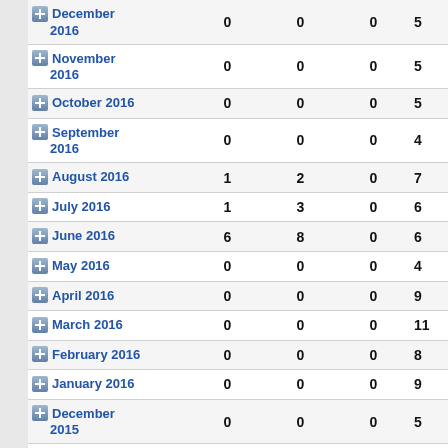| Month | Col1 | Col2 | Col3 | Col4 |
| --- | --- | --- | --- | --- |
| December 2016 | 0 | 0 | 0 | 5 |
| November 2016 | 0 | 0 | 0 | 5 |
| October 2016 | 0 | 0 | 0 | 5 |
| September 2016 | 0 | 0 | 0 | 4 |
| August 2016 | 1 | 2 | 0 | 7 |
| July 2016 | 1 | 3 | 0 | 6 |
| June 2016 | 6 | 8 | 0 | 6 |
| May 2016 | 0 | 0 | 0 | 4 |
| April 2016 | 0 | 0 | 0 | 9 |
| March 2016 | 0 | 0 | 0 | 11 |
| February 2016 | 0 | 0 | 0 | 8 |
| January 2016 | 0 | 0 | 0 | 9 |
| December 2015 | 0 | 0 | 0 | 5 |
| November 2015 | 0 | 0 | 0 | 4 |
| October 2015 | 0 | 0 | 0 | 5 |